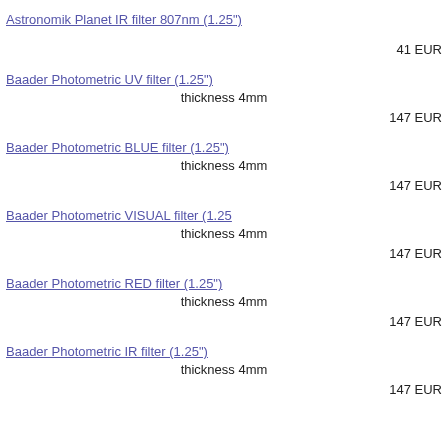Astronomik Planet IR filter 807nm (1.25")
41 EUR
Baader Photometric UV filter (1.25")
thickness 4mm
147 EUR
Baader Photometric BLUE filter (1.25")
thickness 4mm
147 EUR
Baader Photometric VISUAL filter (1.25
thickness 4mm
147 EUR
Baader Photometric RED filter (1.25")
thickness 4mm
147 EUR
Baader Photometric IR filter (1.25")
thickness 4mm
147 EUR